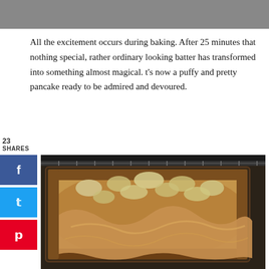[Figure (photo): Top portion of a food photo showing a gray/dark background, cropped at top of page]
All the excitement occurs during baking.  After 25 minutes that nothing special, rather ordinary looking batter has transformed into something almost magical.  t's now a puffy and pretty pancake ready to be admired and devoured.
23
SHARES
[Figure (photo): A puffy baked Dutch baby pancake with apple slices in a glass baking dish inside an oven, photographed from an angle showing the puffed-up golden-brown edges and apple toppings]